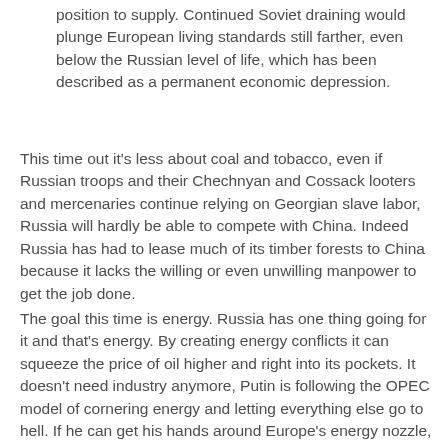position to supply. Continued Soviet draining would plunge European living standards still farther, even below the Russian level of life, which has been described as a permanent economic depression.
This time out it's less about coal and tobacco, even if Russian troops and their Chechnyan and Cossack looters and mercenaries continue relying on Georgian slave labor, Russia will hardly be able to compete with China. Indeed Russia has had to lease much of its timber forests to China because it lacks the willing or even unwilling manpower to get the job done.
The goal this time is energy. Russia has one thing going for it and that's energy. By creating energy conflicts it can squeeze the price of oil higher and right into its pockets. It doesn't need industry anymore, Putin is following the OPEC model of cornering energy and letting everything else go to hell. If he can get his hands around Europe's energy nozzle, he can squeeze the EU into compliance, dismantle NATO